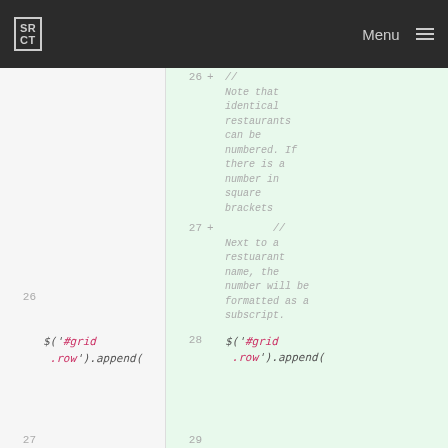SRCT Menu
26  +  //
Note that identical restaurants can be numbered. If there is a number in square brackets
27  +  //
Next to a restuarant name, the number will be formatted as a subscript.
26  28
$('#grid .row').append(    $('#grid .row').append(